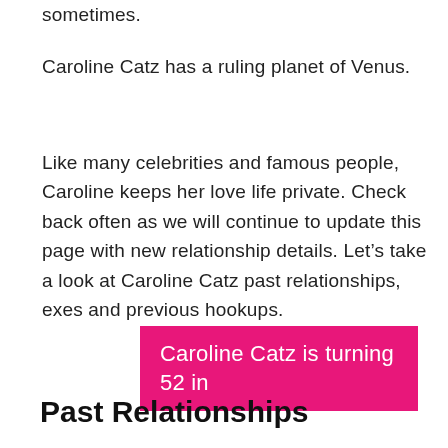sometimes.
Caroline Catz has a ruling planet of Venus.
Like many celebrities and famous people, Caroline keeps her love life private. Check back often as we will continue to update this page with new relationship details. Let's take a look at Caroline Catz past relationships, exes and previous hookups.
Caroline Catz is turning 52 in
Past Relationships